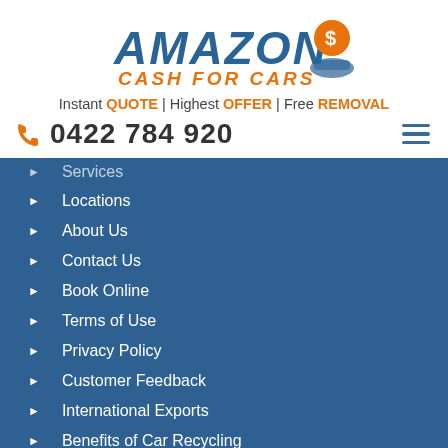[Figure (logo): Amazon Cash For Cars logo with blue AMAZON text, orange CASH FOR CARS text, and car/cash graphic]
Instant QUOTE | Highest OFFER | Free REMOVAL
0422 784 920
Services
Locations
About Us
Contact Us
Book Online
Terms of Use
Privacy Policy
Customer Feedback
International Exports
Benefits of Car Recycling
Frequently Asked Questions
Purchase History